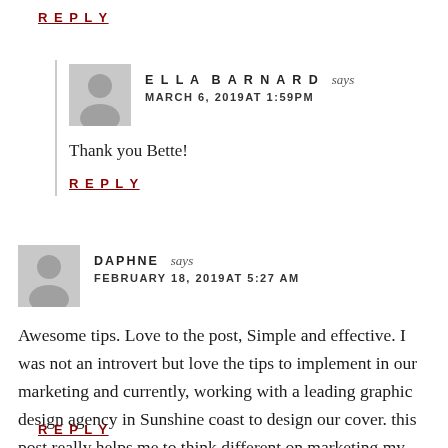REPLY
ELLA BARNARD says
MARCH 6, 2019AT 1:59PM
Thank you Bette!
REPLY
DAPHNE says
FEBRUARY 18, 2019AT 5:27AM
Awesome tips. Love to the post, Simple and effective. I was not an introvert but love the tips to implement in our marketing and currently, working with a leading graphic design agency in Sunshine coast to design our cover. this post really helps me to think different on marketing my book. Thanks for sharing.
REPLY